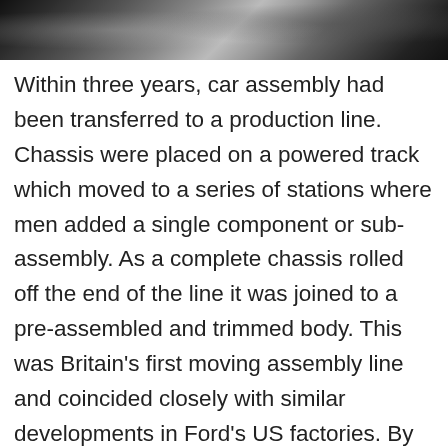[Figure (photo): Black and white photograph showing an industrial car assembly factory scene, partially visible at the top of the page.]
Within three years, car assembly had been transferred to a production line. Chassis were placed on a powered track which moved to a series of stations where men added a single component or sub-assembly. As a complete chassis rolled off the end of the line it was joined to a pre-assembled and trimmed body. This was Britain's first moving assembly line and coincided closely with similar developments in Ford's US factories. By 1914, Ford was also Britain's largest car producer, with an annual output of 6,000 cars from its Manchester factory; more than double that of its nearest British competitor, Wolseley Motors.